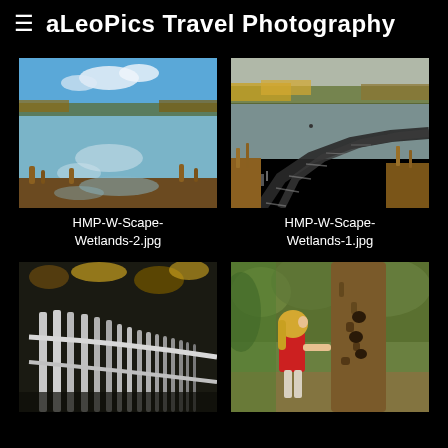≡  aLeoPics Travel Photography
[Figure (photo): Wetlands landscape with reflective water, blue sky, marsh grasses and autumn foliage on far bank]
HMP-W-Scape-Wetlands-2.jpg
[Figure (photo): Wetlands boardwalk winding through autumn landscape with yellow trees, brown marsh grasses and calm water]
HMP-W-Scape-Wetlands-1.jpg
[Figure (photo): White wooden fence/railing of a boardwalk with autumn leaves and vegetation in background]
[Figure (photo): Young blonde child in red shirt touching a large tree trunk with woodpecker holes in a forest setting]